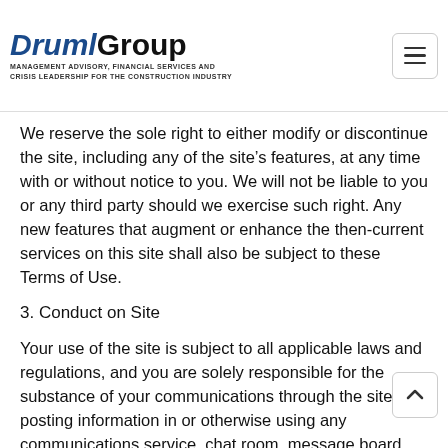Druml Group — Management Advisory, Financial Services and Crisis Leadership for the Construction Industry
We reserve the sole right to either modify or discontinue the site, including any of the site’s features, at any time with or without notice to you. We will not be liable to you or any third party should we exercise such right. Any new features that augment or enhance the then-current services on this site shall also be subject to these Terms of Use.
3. Conduct on Site
Your use of the site is subject to all applicable laws and regulations, and you are solely responsible for the substance of your communications through the site. By posting information in or otherwise using any communications service, chat room, message board, newsgroup, software library, or other interactive service that may be available to you on or through this site, you agree that you will not upload, share, post, or otherwise distribute or facilitate distribution of any content — including text, communications, software, images, sounds, data, or other information — that: